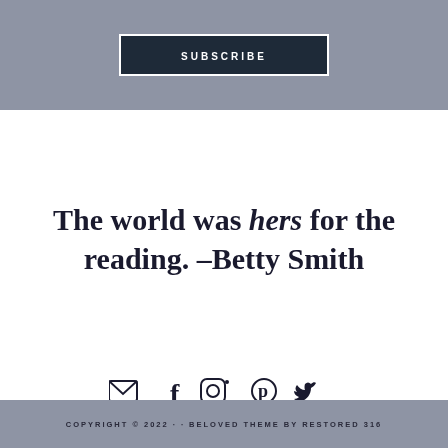SUBSCRIBE
The world was hers for the reading. –Betty Smith
[Figure (infographic): Social media icons: email, facebook, instagram, pinterest, twitter]
COPYRIGHT © 2022 · · BELOVED THEME BY RESTORED 316